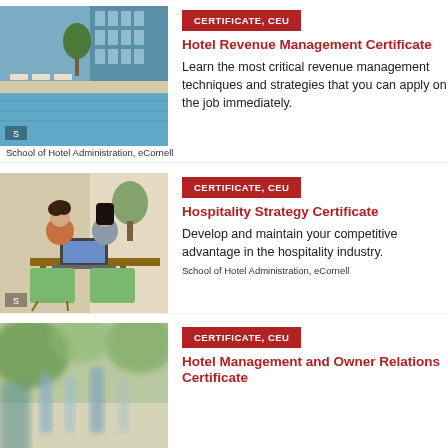[Figure (photo): Hotel pool area with lounge chairs and modern building]
CERTIFICATE, CEU
Hotel Revenue Management Certificate
Learn the most critical revenue management techniques and strategies that you can apply on the job immediately.
School of Hotel Administration, eCornell
[Figure (photo): Two women sitting in chairs working on a laptop in a bright workspace]
CERTIFICATE, CEU
Hospitality Strategy Certificate
Develop and maintain your competitive advantage in the hospitality industry.
School of Hotel Administration, eCornell
[Figure (photo): Blurred restaurant table setting with glasses and greenery]
CERTIFICATE, CEU
Hotel Management and Owner Relations Certificate